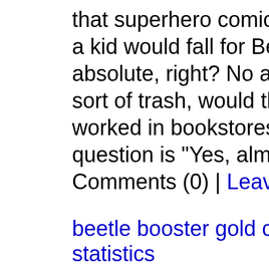that superhero comic books a kid would fall for Beetle's a absolute, right? No adult wo sort of trash, would they? Le worked in bookstores, and th question is "Yes, almost exc
Comments (0) | Leave a Com
beetle booster gold comic bo
statistics